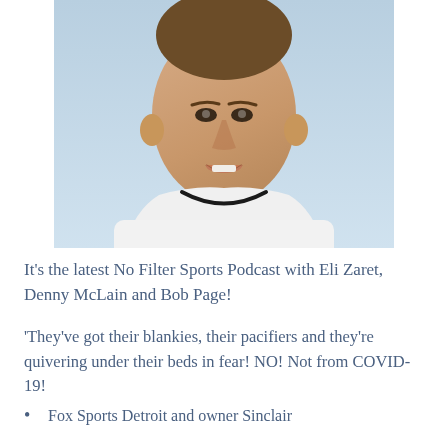[Figure (photo): Close-up photo of a baseball player in a white uniform with a black collar detail, looking upward with mouth slightly open, against a light blue sky background.]
It’s the latest No Filter Sports Podcast with Eli Zaret, Denny McLain and Bob Page!
‘They’ve got their blankies, their pacifiers and they’re quivering under their beds in fear! NO! Not from COVID-19!
Fox Sports Detroit and owner Sinclair
Broadcast, a group of the TOP...